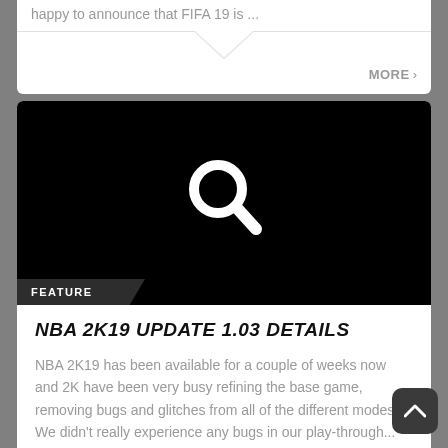happy to announce that FIFA 19 is ...
MORE ›
[Figure (screenshot): Black image with white search/magnifying glass icon in the center]
FEATURE
NBA 2K19 UPDATE 1.03 DETAILS
NBA 2K19 has been available for a couple of weeks now and 2K have been very busy refining the base game, removing bugs and glitches from all of the different modes. We didn't really experience any bugs in our play-through...